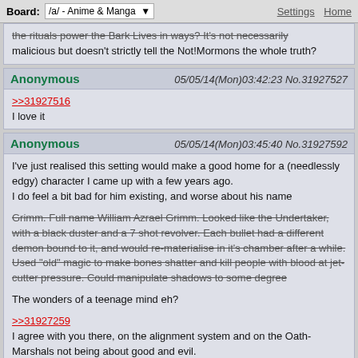Board: /a/ - Anime & Manga   Settings  Home
the rituals power the Bark Lives in ways? It's not necessarily malicious but doesn't strictly tell the Not!Mormons the whole truth?
Anonymous  05/05/14(Mon)03:42:23 No.31927527
>>31927516
I love it
Anonymous  05/05/14(Mon)03:45:40 No.31927592
I've just realised this setting would make a good home for a (needlessly edgy) character I came up with a few years ago.
I do feel a bit bad for him existing, and worse about his name

[strikethrough] Grimm. Full name William Azrael Grimm. Looked like the Undertaker, with a black duster and a 7 shot revolver. Each bullet had a different demon bound to it, and would re-materialise in it's chamber after a while. Used "old" magic to make bones shatter and kill people with blood at jet-cutter pressure. Could manipulate shadows to some degree

The wonders of a teenage mind eh?

>>31927259
I agree with you there, on the alignment system and on the Oath-Marshals not being about good and evil.
I just used Paladin-y to describe them, seeing as they fit the attitude pretty well. Relentless hunter and all that.